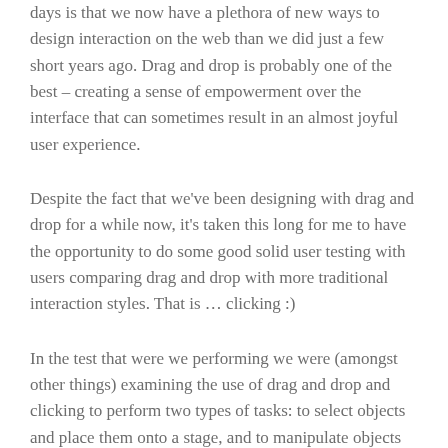days is that we now have a plethora of new ways to design interaction on the web than we did just a few short years ago. Drag and drop is probably one of the best – creating a sense of empowerment over the interface that can sometimes result in an almost joyful user experience.
Despite the fact that we've been designing with drag and drop for a while now, it's taken this long for me to have the opportunity to do some good solid user testing with users comparing drag and drop with more traditional interaction styles. That is … clicking :)
In the test that were we performing we were (amongst other things) examining the use of drag and drop and clicking to perform two types of tasks: to select objects and place them onto a stage, and to manipulate objects on a stage.